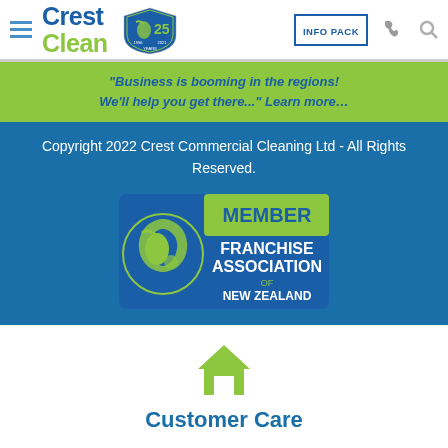[Figure (logo): CrestClean logo with hamburger menu, 25 years badge, INFO PACK button, phone icon, and search icon in a white navigation bar]
"Business is booming in the regions! We'll help you get there..." Learn more…
Copyright 2022 Crest Commercial Cleaning Ltd - All Rights Reserved.
[Figure (logo): Member Franchise Association of New Zealand badge with kiwi bird logo in green and blue]
[Figure (illustration): Green house/home icon]
Customer Care